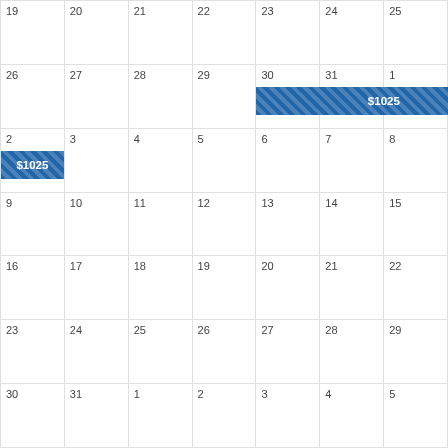| Sun | Mon | Tue | Wed | Thu | Fri | Sat |
| --- | --- | --- | --- | --- | --- | --- |
| 19 | 20 | 21 | 22 | 23 | 24 | 25 |
| 26 | 27 | 28 | 29 | 30 $1025 | 31 $1025 | 1 $1025 |
| 2 $1025 | 3 | 4 | 5 | 6 | 7 | 8 |
| 9 | 10 | 11 | 12 | 13 | 14 | 15 |
| 16 | 17 | 18 | 19 | 20 | 21 | 22 |
| 23 | 24 | 25 | 26 | 27 | 28 | 29 |
| 30 | 31 | 1 | 2 | 3 | 4 | 5 |